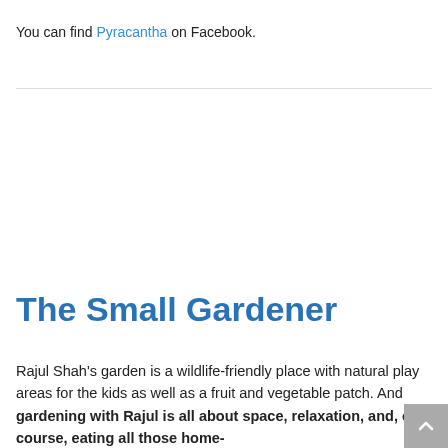You can find Pyracantha on Facebook.
The Small Gardener
Rajul Shah’s garden is a wildlife-friendly place with natural play areas for the kids as well as a fruit and vegetable patch. And gardening with Rajul is all about space, relaxation, and, of course, eating all those home-